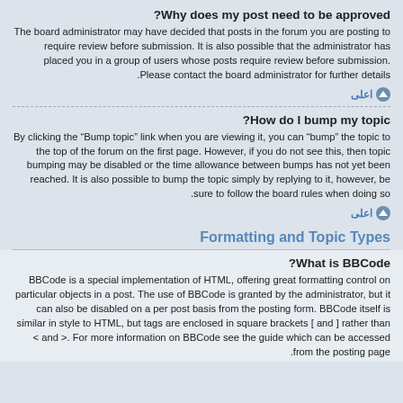Why does my post need to be approved?
The board administrator may have decided that posts in the forum you are posting to require review before submission. It is also possible that the administrator has placed you in a group of users whose posts require review before submission. Please contact the board administrator for further details.
اعلی
How do I bump my topic?
By clicking the “Bump topic” link when you are viewing it, you can “bump” the topic to the top of the forum on the first page. However, if you do not see this, then topic bumping may be disabled or the time allowance between bumps has not yet been reached. It is also possible to bump the topic simply by replying to it, however, be sure to follow the board rules when doing so.
اعلی
Formatting and Topic Types
What is BBCode?
BBCode is a special implementation of HTML, offering great formatting control on particular objects in a post. The use of BBCode is granted by the administrator, but it can also be disabled on a per post basis from the posting form. BBCode itself is similar in style to HTML, but tags are enclosed in square brackets [ and ] rather than < and >. For more information on BBCode see the guide which can be accessed from the posting page.